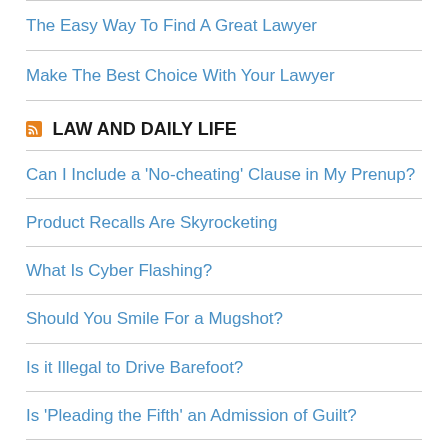The Easy Way To Find A Great Lawyer
Make The Best Choice With Your Lawyer
LAW AND DAILY LIFE
Can I Include a 'No-cheating' Clause in My Prenup?
Product Recalls Are Skyrocketing
What Is Cyber Flashing?
Should You Smile For a Mugshot?
Is it Illegal to Drive Barefoot?
Is 'Pleading the Fifth' an Admission of Guilt?
What is Labor Day?